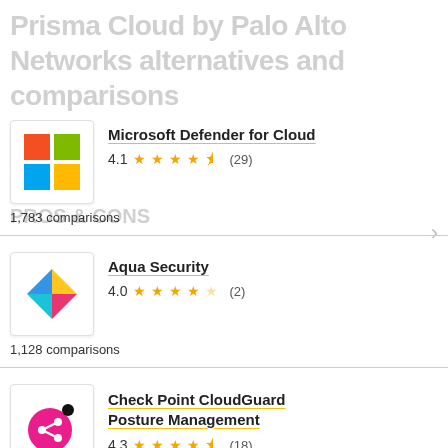Prisma Cloud by Palo Alto Networks alternatives and comparisons
PROS & CONS
[Figure (logo): Microsoft logo with four colored squares: red, green, blue, yellow]
Microsoft Defender for Cloud
4.1 ★★★★½ (29)
1,783 comparisons
[Figure (logo): Aqua Security colorful diamond/cube logo]
Aqua Security
4.0 ★★★★☆ (2)
1,128 comparisons
[Figure (logo): Check Point CloudGuard pink circular logo with share icon and black dot]
Check Point CloudGuard Posture Management
4.3 ★★★★½ (18)
862 comparisons